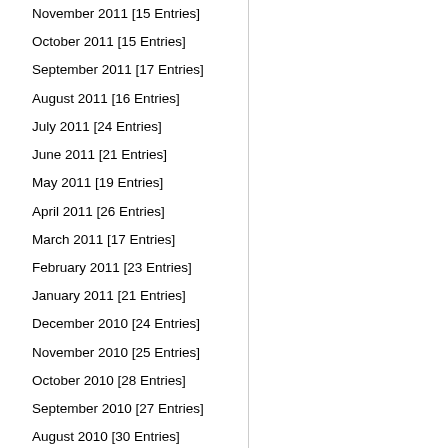November 2011 [15 Entries]
October 2011 [15 Entries]
September 2011 [17 Entries]
August 2011 [16 Entries]
July 2011 [24 Entries]
June 2011 [21 Entries]
May 2011 [19 Entries]
April 2011 [26 Entries]
March 2011 [17 Entries]
February 2011 [23 Entries]
January 2011 [21 Entries]
December 2010 [24 Entries]
November 2010 [25 Entries]
October 2010 [28 Entries]
September 2010 [27 Entries]
August 2010 [30 Entries]
July 2010 [30 Entries]
June 2010 [31 Entries]
May 2010 [30 Entries]